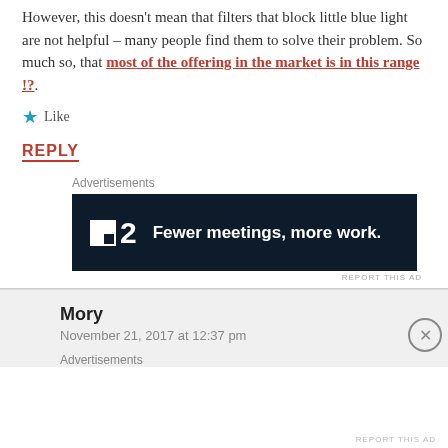However, this doesn't mean that filters that block little blue light are not helpful – many people find them to solve their problem. So much so, that most of the offering in the market is in this range !?.
Like
REPLY
Advertisements
[Figure (other): Advertisement banner: dark background with logo '2' and text 'Fewer meetings, more work.']
REPORT THIS AD
Mory
November 21, 2017 at 12:37 pm
Advertisements
REPORT THIS AD